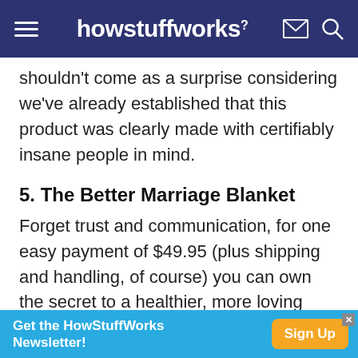howstuffworks
shouldn't come as a surprise considering we've already established that this product was clearly made with certifiably insane people in mind.
5. The Better Marriage Blanket
Forget trust and communication, for one easy payment of $49.95 (plus shipping and handling, of course) you can own the secret to a healthier, more loving marriage. That's right, the Better Marriage Blanket is a state-of the-art fart-absorbing bed sheet that helps ensure the problem of frequent flatulence never comes between you and your partner.
Get the HowStuffWorks Newsletter! Sign Up